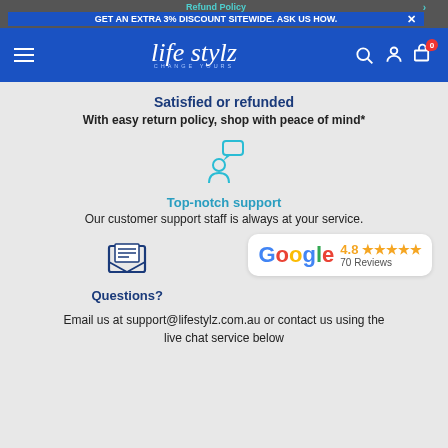Refund Policy | GET AN EXTRA 3% DISCOUNT SITEWIDE. ASK US HOW.
[Figure (logo): Life Stylz - Change Yours logo on blue navigation bar with hamburger menu, search, account and cart icons]
Satisfied or refunded
With easy return policy, shop with peace of mind*
[Figure (illustration): Teal icon of a person with a speech/chat bubble]
Top-notch support
Our customer support staff is always at your service.
[Figure (illustration): Dark blue envelope icon with lines representing a letter]
[Figure (illustration): Google review badge showing 4.8 stars and 70 Reviews]
Questions?
Email us at support@lifestylz.com.au or contact us using the live chat service below